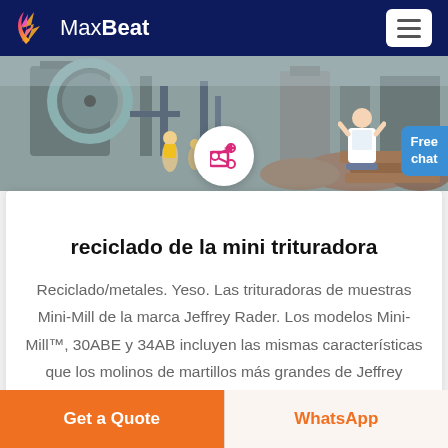MaxBeat
[Figure (photo): Industrial site with large machinery, conveyor belts, workers in yellow vests, and piles of materials outdoors]
reciclado de la mini trituradora
Reciclado/metales. Yeso. Las trituradoras de muestras Mini-Mill de la marca Jeffrey Rader. Los modelos Mini-Mill™, 30ABE y 34AB incluyen las mismas características que los molinos de martillos más grandes de Jeffrey
Get a Quote   WhatsApp